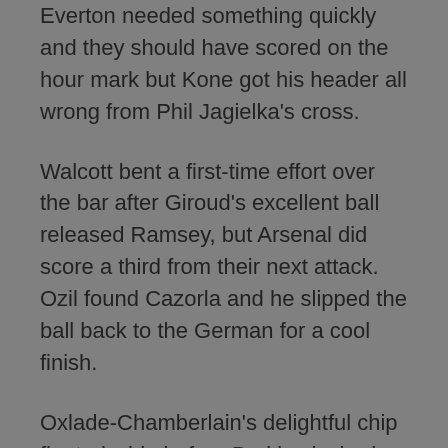Everton needed something quickly and they should have scored on the hour mark but Kone got his header all wrong from Phil Jagielka's cross.
Walcott bent a first-time effort over the bar after Giroud's excellent ball released Ramsey, but Arsenal did score a third from their next attack. Ozil found Cazorla and he slipped the ball back to the German for a cool finish.
Oxlade-Chamberlain's delightful chip floated wide before Barkley lashed a shot beyond Cech to give Everton a glimmer of hope.
By that point Mikel Arteta was on the pitch - his